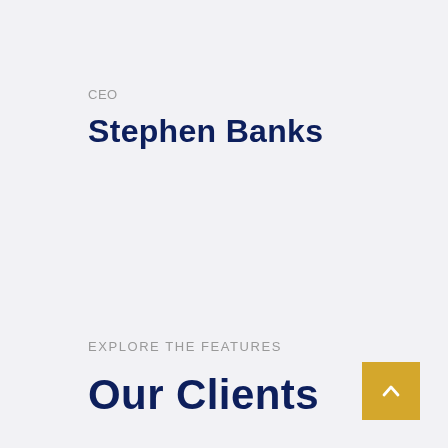CEO
Stephen Banks
EXPLORE THE FEATURES
Our Clients
[Figure (other): Gold/yellow square button with a white upward-pointing chevron arrow in the bottom-right corner]